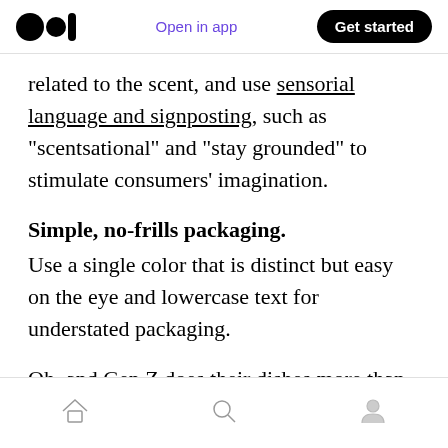Medium logo | Open in app | Get started
related to the scent, and use sensorial language and signposting, such as “scentsational” and “stay grounded” to stimulate consumers’ imagination.
Simple, no-frills packaging.
Use a single color that is distinct but easy on the eye and lowercase text for understated packaging.
Oh, and Gen Z does their dishes more than you think :)
Home | Search | Profile